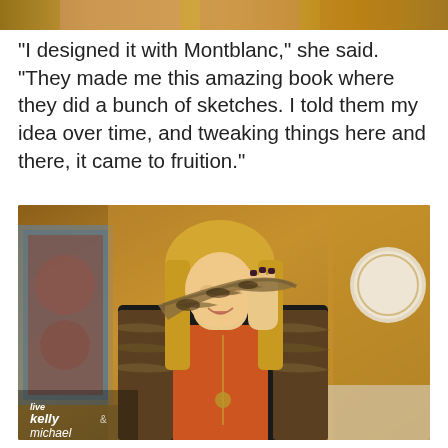[Figure (photo): Top portion of a TV show screenshot, showing a warm golden/brown colored studio background, partially cropped at the top of the page.]
"I designed it with Montblanc," she said. "They made me this amazing book where they did a bunch of sketches. I told them my idea over time, and tweaking things here and there, it came to fruition."
[Figure (photo): A blonde woman holding a large snake on the Live with Kelly and Michael TV show set. She is wearing a black blazer over an orange top with a chain necklace. The TV show watermark 'live kelly michael' is visible in the lower left corner. The studio set has warm wooden tones and decorative elements in the background.]